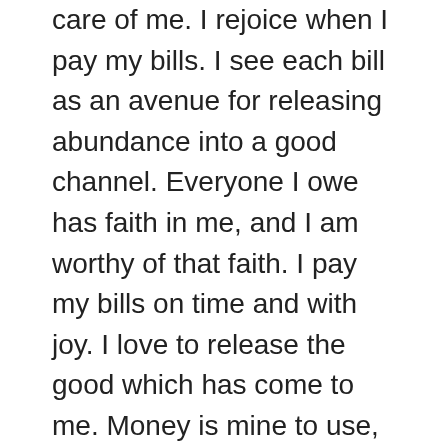care of me.  I rejoice when I pay my bills. I see each bill as an avenue for releasing abundance into a good channel.  Everyone I owe has faith in me, and I am worthy of that faith.  I pay my bills on time and with joy.  I love to release the good which has come to me.  Money is mine to use, but not to own.  It circulates in my life with accuracy and ease.  God's money comes to me in order that I shall pay it out.  Money is God's ease in my life.
The universe supports me and maintains me in freedom, because God is the Source and Continuance of good.  The Mind which created me sustains me.  I use money for the Glory of God,